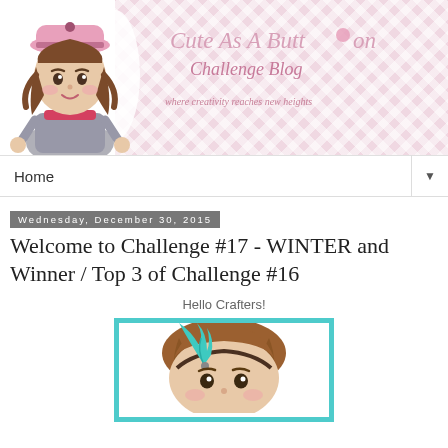[Figure (illustration): Blog header banner for 'Cute As A Button Challenge Blog' with illustrated girl character wearing pink hat, pink diamond pattern background, cursive title text and tagline 'where creativity reaches new heights']
Home ▼
Wednesday, December 30, 2015
Welcome to Challenge #17 - WINTER and Winner / Top 3 of Challenge #16
Hello Crafters!
[Figure (illustration): Illustrated girl character with brown hair, feather headband, teal/turquoise feather, framed with teal border]